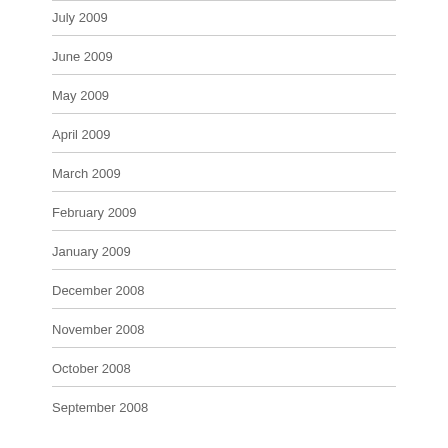July 2009
June 2009
May 2009
April 2009
March 2009
February 2009
January 2009
December 2008
November 2008
October 2008
September 2008